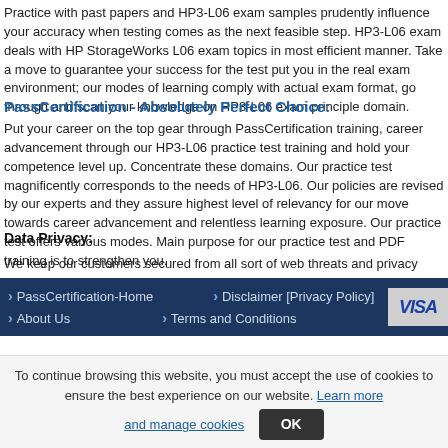Practice with past papers and HP3-L06 exam samples prudently influence your accuracy when testing comes as the next feasible step. HP3-L06 exam deals with HP StorageWorks topics. L06 exam topics in most efficient manner. Take a move to guarantee your success for the test put you in the real exam environment; our modes of learning comply with actual exam format, go through and scan your knowledge on HP3-L06 exam principle domain.
PassCertification - Absolutely Perfect Choice:
Put your career on the top gear through PassCertification training, career advancement through our HP3-L06 practice test training and hold your competence level up. Concentrate these domains. Our practice test magnificently corresponds to the needs of HP3-L06. Our policies are revised by our experts and they assure highest level of relevancy for our move towards career advancement and relentless learning exposure. Our practice test offers various modes. Main purpose for our practice test and PDF training is to strengthen you.
Data Privacy:
We keep our customers secured from all sort of web threats and privacy issues. Protecting the responsibility of keeping your personal data private and confidential. Our customers security practices adopted by us to keep them secured against data privacy threats.
PassCertification-Home | Disclaimer [Privacy Policy] | About Us | Terms and Conditions
To continue browsing this website, you must accept the use of cookies to ensure the best experience on our website. Learn more and manage cookies  OK